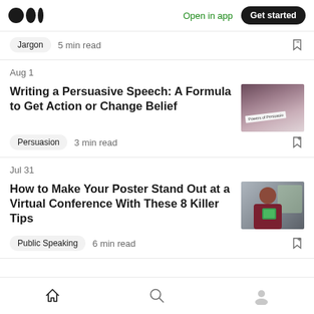Medium app navigation bar with logo, Open in app link, and Get started button
Jargon · 5 min read
Aug 1
Writing a Persuasive Speech: A Formula to Get Action or Change Belief
Persuasion · 3 min read
Jul 31
How to Make Your Poster Stand Out at a Virtual Conference With These 8 Killer Tips
Public Speaking · 6 min read
Home · Search · Profile